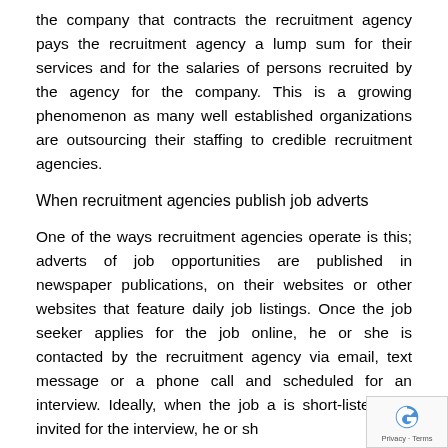the company that contracts the recruitment agency pays the recruitment agency a lump sum for their services and for the salaries of persons recruited by the agency for the company. This is a growing phenomenon as many well established organizations are outsourcing their staffing to credible recruitment agencies.
When recruitment agencies publish job adverts
One of the ways recruitment agencies operate is this; adverts of job opportunities are published in newspaper publications, on their websites or other websites that feature daily job listings. Once the job seeker applies for the job online, he or she is contacted by the recruitment agency via email, text message or a phone call and scheduled for an interview. Ideally, when the job a is short-listed and invited for the interview, he or sh